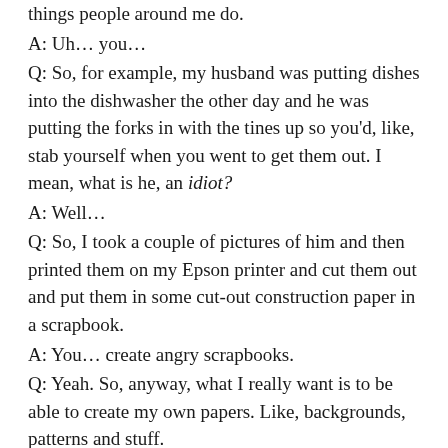things people around me do.
A: Uh… you…
Q: So, for example, my husband was putting dishes into the dishwasher the other day and he was putting the forks in with the tines up so you'd, like, stab yourself when you went to get them out. I mean, what is he, an idiot?
A: Well…
Q: So, I took a couple of pictures of him and then printed them on my Epson printer and cut them out and put them in some cut-out construction paper in a scrapbook.
A: You… create angry scrapbooks.
Q: Yeah. So, anyway, what I really want is to be able to create my own papers. Like, backgrounds, patterns and stuff.
A: Uh, you know, I gotta say… I don't think you should be questioning your peripherals. I think you should be questioning why you're angry